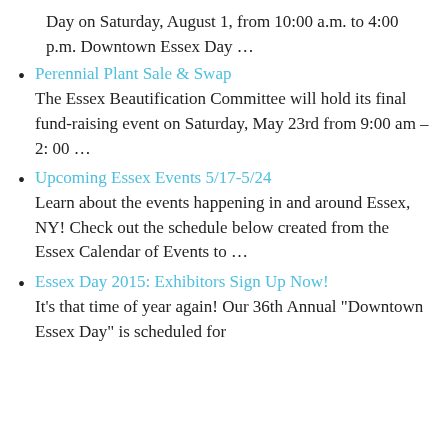Day on Saturday, August 1, from 10:00 a.m. to 4:00 p.m. Downtown Essex Day …
Perennial Plant Sale & Swap
The Essex Beautification Committee will hold its final fund-raising event on Saturday, May 23rd from 9:00 am – 2: 00 …
Upcoming Essex Events 5/17-5/24
Learn about the events happening in and around Essex, NY! Check out the schedule below created from the Essex Calendar of Events to …
Essex Day 2015: Exhibitors Sign Up Now!
It's that time of year again!  Our 36th Annual "Downtown Essex Day" is scheduled for